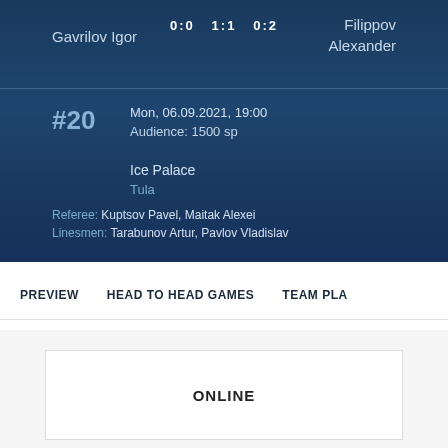0:0  1:1  0:2
Gavrilov Igor
Filippov Alexander
#20
Mon, 06.09.2021, 19:00
Audience: 1500 sp
Ice Palace
Tula
Referee: Kuptsov Pavel, Maitak Alexei
Linesmen: Tarabunov Artur, Pavlov Vladislav
PREVIEW
HEAD TO HEAD GAMES
TEAM PLA
ONLINE